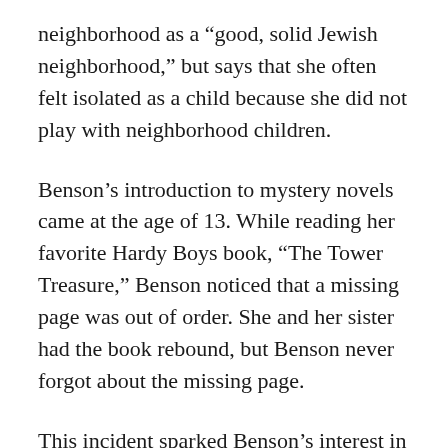neighborhood as a “good, solid Jewish neighborhood,” but says that she often felt isolated as a child because she did not play with neighborhood children.
Benson’s introduction to mystery novels came at the age of 13. While reading her favorite Hardy Boys book, “The Tower Treasure,” Benson noticed that a missing page was out of order. She and her sister had the book rebound, but Benson never forgot about the missing page.
This incident sparked Benson’s interest in mystery novels. She resolved to become a writer.